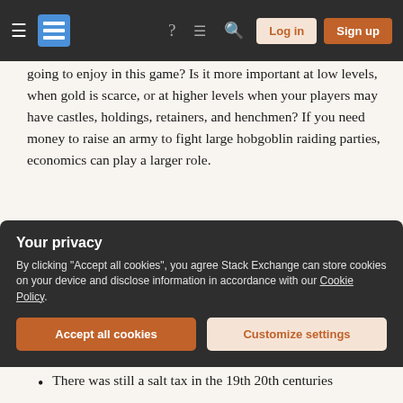Stack Exchange navigation bar with hamburger menu, logo, help, chat, search icons, Log in and Sign up buttons
going to enjoy in this game? Is it more important at low levels, when gold is scarce, or at higher levels when your players may have castles, holdings, retainers, and henchmen? If you need money to raise an army to fight large hobgoblin raiding parties, economics can play a larger role.
Follow up points on currency (money) and value.
The Personal Computer I currently use has orders of magnitude greater computing power than the one I bought in 1987. I paid $1200 in 2012-dollars for this
Your privacy
By clicking "Accept all cookies", you agree Stack Exchange can store cookies on your device and disclose information in accordance with our Cookie Policy.
Accept all cookies  Customize settings
There was still a salt tax in the 19th 20th centuries